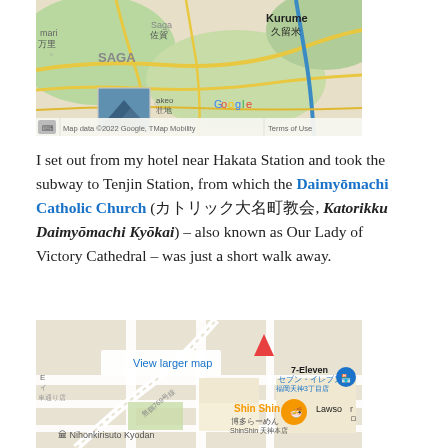[Figure (map): Google Map showing Saga, Kurume, Yame area in Kyushu, Japan with map data credit 2022 Google, TMap Mobility.]
I set out from my hotel near Hakata Station and took the subway to Tenjin Station, from which the Daimyōmachi Catholic Church (カトリック大名町教会, Katorikku Daimyōmachi Kyōkai) – also known as Our Lady of Victory Cathedral – was just a short walk away.
[Figure (map): Google Map showing street-level view near Tenjin area in Fukuoka, Japan, with pins for 7-Eleven, Shin Shin ramen restaurant, Lawson, and Nihonkirisuto Kyodan. Includes 'View larger map' link.]